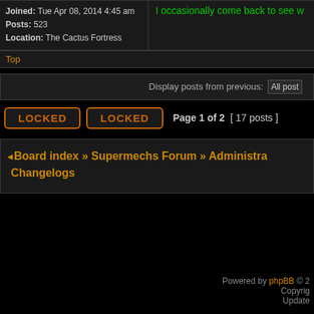Joined: Tue Apr 08, 2014 4:45 am
Posts: 523
Location: The Cactus Fortress
I occasionally come back to see w
Top
Display posts from previous: All posts
LOCKED  LOCKED  Page 1 of 2  [ 17 posts ]
Board index » Supermechs Forum » Administra Changelogs
Powered by phpBB © 2 Copyright Update